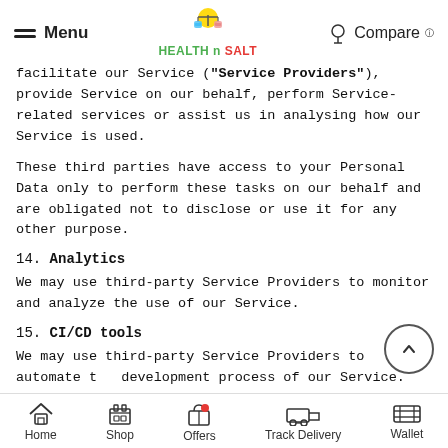Menu | HEALTH n SALT | Compare
facilitate our Service ("Service Providers"), provide Service on our behalf, perform Service-related services or assist us in analysing how our Service is used.
These third parties have access to your Personal Data only to perform these tasks on our behalf and are obligated not to disclose or use it for any other purpose.
14. Analytics
We may use third-party Service Providers to monitor and analyze the use of our Service.
15. CI/CD tools
We may use third-party Service Providers to automate the development process of our Service.
Home | Shop | Offers | Track Delivery | Wallet